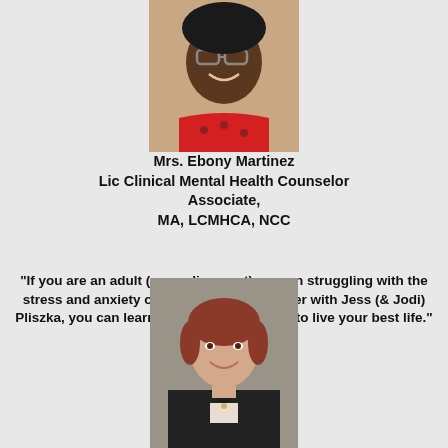[Figure (photo): Headshot of Mrs. Ebony Martinez, a woman wearing glasses and a red floral top, smiling.]
Mrs. Ebony Martinez
Lic Clinical Mental Health Counselor Associate,
MA, LCMHCA, NCC
"If you are an adult (neurodivergent) woman struggling with the stress and anxiety of everyday life. Together with Jess (& Jodi) Pliszka, you can learn healthy coping skills to live your best life."
[Figure (photo): Headshot of a woman with short reddish hair wearing a black blazer, smiling, professional photo.]